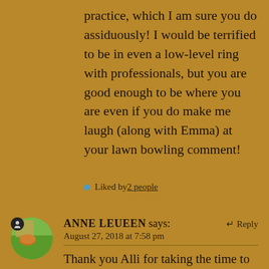practice, which I am sure you do assiduously! I would be terrified to be in even a low-level ring with professionals, but you are good enough to be where you are even if you do make me laugh (along with Emma) at your lawn bowling comment!
Liked by 2 people
ANNE LEUEEN says:
August 27, 2018 at 7:58 pm
Thank you Alli for taking the time to give me this detailed